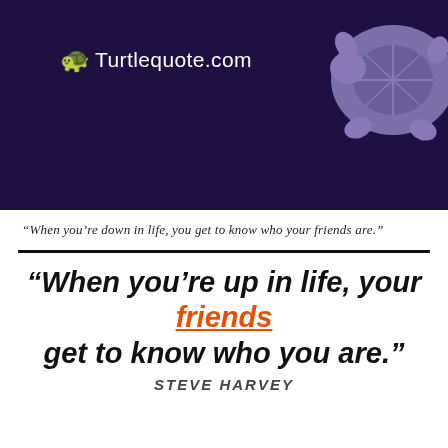[Figure (illustration): Dark purple/indigo banner with a stylized turtle graphic in the upper right corner and the Turtlequote.com logo in the center-left area]
“When you’re down in life, you get to know who your friends are.”
“When you’re up in life, your friends get to know who you are.”
STEVE HARVEY